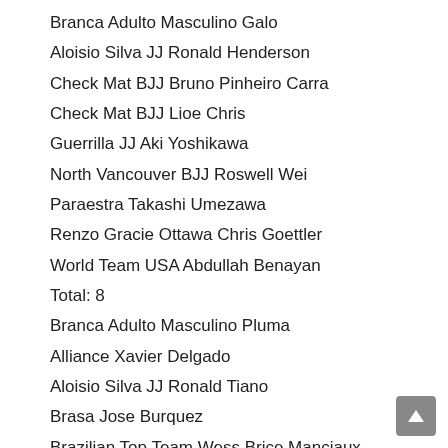Branca Adulto Masculino Galo
Aloisio Silva JJ Ronald Henderson
Check Mat BJJ Bruno Pinheiro Carra
Check Mat BJJ Lioe Chris
Guerrilla JJ Aki Yoshikawa
North Vancouver BJJ Roswell Wei
Paraestra Takashi Umezawa
Renzo Gracie Ottawa Chris Goettler
World Team USA Abdullah Benayan
Total: 8
Branca Adulto Masculino Pluma
Alliance Xavier Delgado
Aloisio Silva JJ Ronald Tiano
Brasa Jose Burquez
Brazilian Top Team Wess Brice Manciaux
Carlson Gracie Team Jeorge Villalobos
Cesar Gracie Darren Alcantara
Factory BJJ Richard Astley